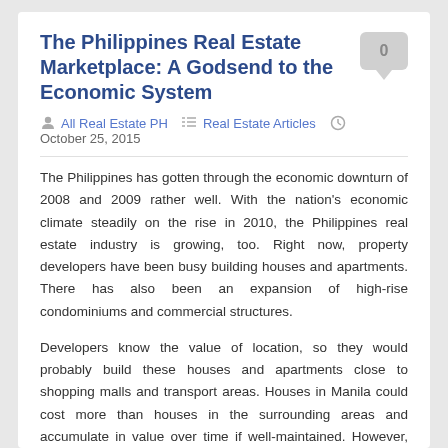The Philippines Real Estate Marketplace: A Godsend to the Economic System
All Real Estate PH   Real Estate Articles   October 25, 2015
The Philippines has gotten through the economic downturn of 2008 and 2009 rather well. With the nation's economic climate steadily on the rise in 2010, the Philippines real estate industry is growing, too. Right now, property developers have been busy building houses and apartments. There has also been an expansion of high-rise condominiums and commercial structures.
Developers know the value of location, so they would probably build these houses and apartments close to shopping malls and transport areas. Houses in Manila could cost more than houses in the surrounding areas and accumulate in value over time if well-maintained. However, these houses and apartments usually are not limited to Metro Manila only, but are also in nearby areas like Bulacan, Rizal, and Cavite. A lot of houses are now in place